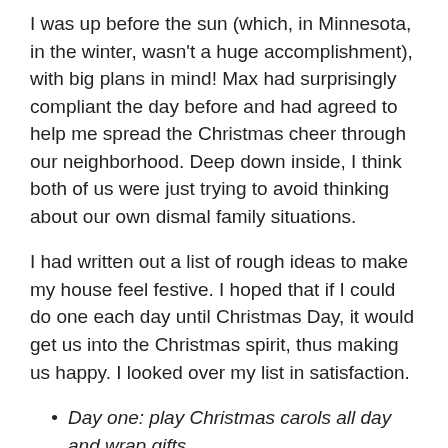I was up before the sun (which, in Minnesota, in the winter, wasn't a huge accomplishment), with big plans in mind! Max had surprisingly compliant the day before and had agreed to help me spread the Christmas cheer through our neighborhood. Deep down inside, I think both of us were just trying to avoid thinking about our own dismal family situations.
I had written out a list of rough ideas to make my house feel festive. I hoped that if I could do one each day until Christmas Day, it would get us into the Christmas spirit, thus making us happy. I looked over my list in satisfaction.
Day one: play Christmas carols all day and wrap gifts
Day two: burn cinnamon candles and watch old Christmas movies